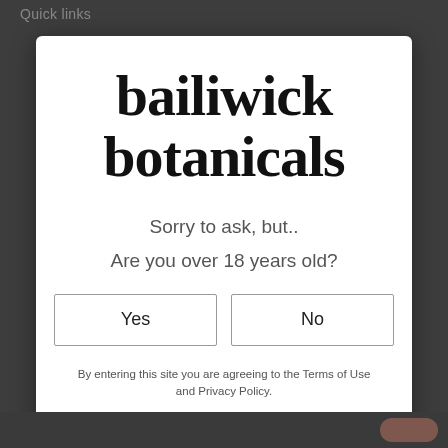Quick links
[Figure (logo): Bailiwick Botanicals logo — bold serif text reading 'bailiwick botanicals' in two lines]
Sorry to ask, but..
Are you over 18 years old?
Yes
No
By entering this site you are agreeing to the Terms of Use and Privacy Policy.